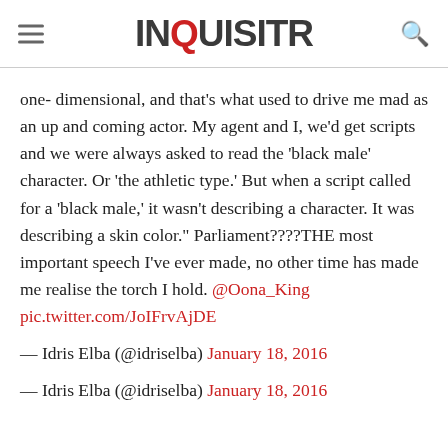INQUISITR
one- dimensional, and that's what used to drive me mad as an up and coming actor. My agent and I, we'd get scripts and we were always asked to read the 'black male' character. Or 'the athletic type.' But when a script called for a 'black male,' it wasn't describing a character. It was describing a skin color." Parliament????THE most important speech I've ever made, no other time has made me realise the torch I hold. @Oona_King pic.twitter.com/JoIFrvAjDE
— Idris Elba (@idriselba) January 18, 2016
— Idris Elba (@idriselba) January 18, 2016